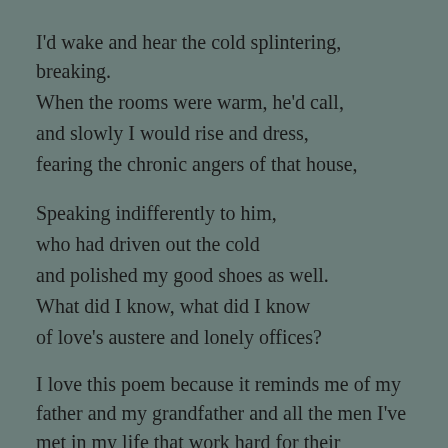I'd wake and hear the cold splintering, breaking.
When the rooms were warm, he'd call,
and slowly I would rise and dress,
fearing the chronic angers of that house,

Speaking indifferently to him,
who had driven out the cold
and polished my good shoes as well.
What did I know, what did I know
of love's austere and lonely offices?
I love this poem because it reminds me of my father and my grandfather and all the men I've met in my life that work hard for their families. It is a sad poem but also a celebratory poem. I think it speaks a truth that many of us can relate to.